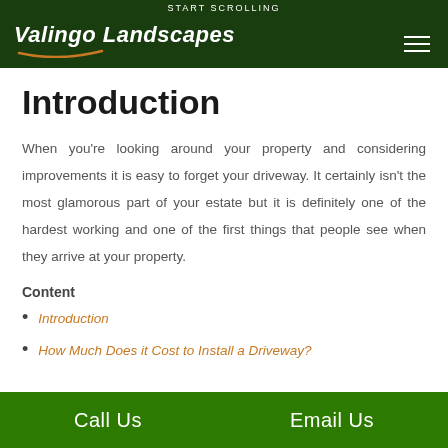START SCROLLING — Valingo Landscapes
Introduction
When you're looking around your property and considering improvements it is easy to forget your driveway. It certainly isn't the most glamorous part of your estate but it is definitely one of the hardest working and one of the first things that people see when they arrive at your property.
Content
Introduction
How Much Does it Cost to Install a Driveway?
Call Us   Email Us